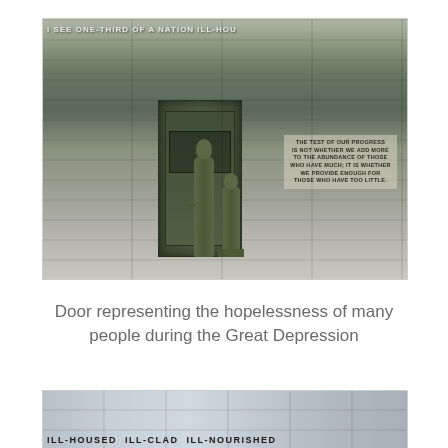[Figure (photo): Photo of the FDR Memorial showing bronze statues of two figures (one standing, one seated) in front of a large door panel set into a stone wall. Text carved into the wall reads: 'I SEE ONE-THIRD OF A NATION ILL-HOU' at the top, and an inscription panel reads: 'THE TEST OF OUR PROGRESS IS NOT WHETHER WE ADD MORE TO THE ABUNDANCE OF THOSE WHO HAVE MUCH; IT IS WHETHER WE PROVIDE ENOUGH FOR THOSE WHO HAVE TOO LITTLE.']
Door representing the hopelessness of many people during the Great Depression
[Figure (photo): Partial photo of the FDR Memorial stone wall with carved text visible: 'ILL-HOUSED ILL-CLAD ILL-NOURISHED']